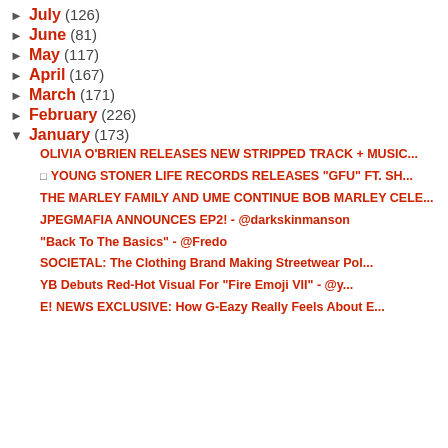► July (126)
► June (81)
► May (117)
► April (167)
► March (171)
► February (226)
▼ January (173)
OLIVIA O'BRIEN RELEASES NEW STRIPPED TRACK + MUSIC...
□ YOUNG STONER LIFE RECORDS RELEASES "GFU" FT. SH...
THE MARLEY FAMILY AND UME CONTINUE BOB MARLEY CELE...
JPEGMAFIA ANNOUNCES EP2! - @darkskinmanson
"Back To The Basics" - @Fredo
SOCIETAL: The Clothing Brand Making Streetwear Pol...
YB Debuts Red-Hot Visual For "Fire Emoji VII" - @y...
E! NEWS EXCLUSIVE: How G-Eazy Really Feels About E...